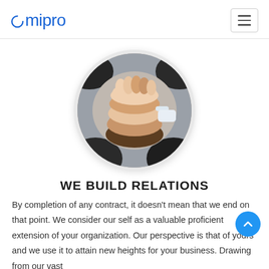emipro
[Figure (photo): Circular photo of multiple hands stacked together in a teamwork gesture, business people in suits, shot from above]
WE BUILD RELATIONS
By completion of any contract, it doesn't mean that we end on that point. We consider our self as a valuable proficient extension of your organization. Our perspective is that of yours and we use it to attain new heights for your business. Drawing from our vast